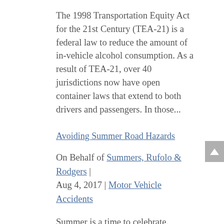The 1998 Transportation Equity Act for the 21st Century (TEA-21) is a federal law to reduce the amount of in-vehicle alcohol consumption. As a result of TEA-21, over 40 jurisdictions now have open container laws that extend to both drivers and passengers. In those...
Avoiding Summer Road Hazards
On Behalf of Summers, Rufolo & Rodgers | Aug 4, 2017 | Motor Vehicle Accidents
Summer is a time to celebrate. Students enjoy a lengthy break, families make memories on the road, teens get their first taste of the work force, and things are just a bit more laid back. Unfortunately, summer also brings in...